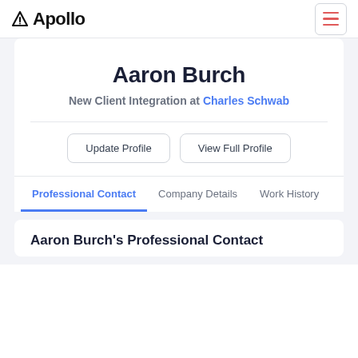Apollo
Aaron Burch
New Client Integration at Charles Schwab
Update Profile | View Full Profile
Professional Contact  Company Details  Work History
Aaron Burch's Professional Contact